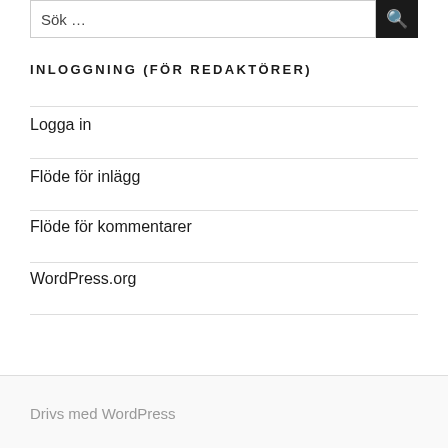INLOGGNING (FÖR REDAKTÖRER)
Logga in
Flöde för inlägg
Flöde för kommentarer
WordPress.org
Drivs med WordPress